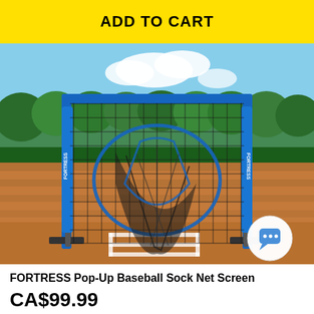ADD TO CART
[Figure (photo): FORTRESS Pop-Up Baseball Sock Net Screen on a baseball field. A large square blue-framed net with a black mesh, standing on a baseball diamond. The net has a sock/funnel in the center that catches balls. Blue padding on the sides reads FORTRESS. Background shows green trees, blue sky with clouds, and the infield dirt.]
FORTRESS Pop-Up Baseball Sock Net Screen
CA$99.99